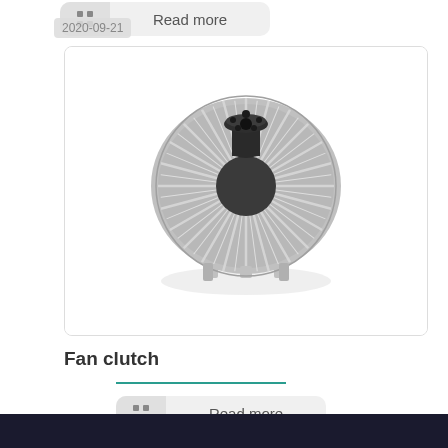[Figure (other): Read more button with grid icon, partially visible at top of page]
[Figure (photo): Photograph of an automotive fan clutch component — a circular metal part with radial cooling fins arranged around a central hub with mounting holes, photographed against a white background. Date label shows 2020-09-21.]
Fan clutch
[Figure (other): Read more button with grid icon]